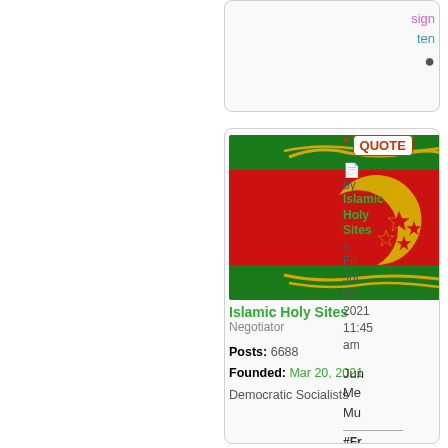sign
ten
●
[Figure (other): Flag image: red and green flag with gold crescent moon and stars and sword/scimitar symbols]
Islamic Holy Sites
Negotiator

Posts: 6688
Founded: Mar 20, 2021
Democratic Socialists
" QUOTE
□
by Islamic Holy Sites » Fri Jul 02, 2021 11:45 am

Jun
Me
Mu

#Fr
FRI
DEM
ISL
FR
STA
UKR
PEO
Cal